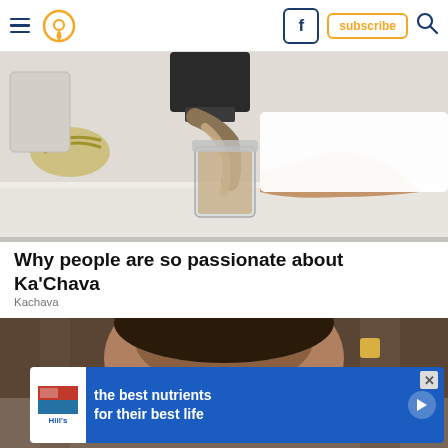Navigation header with hamburger menu, location pin, Facebook icon, subscribe button, search icon
[Figure (photo): Person pouring a beige/tan smoothie from a blender into a glass jar on a white kitchen counter, with bananas visible in the background]
Why people are so passionate about Ka'Chava
Kachava
[Figure (photo): Close-up of a person's face/head from above, dark hair visible, with an advertisement banner overlay for Hill's pet food reading 'the best nutrients for their best life']